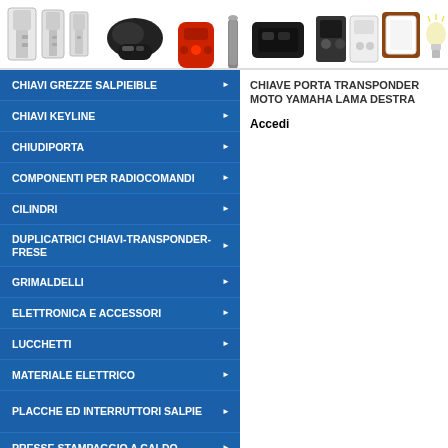[Figure (screenshot): Header bar with product category icons: keys, car remote fobs, red car key, cylinder, black remote, square remotes, wall plate, light bulb]
CHIAVI GREZZE SALPIEIBLE
CHIAVI KEYLINE
CHIUDIPORTA
COMPONENTI PER RADIOCOMANDI
CILINDRI
DUPLICATRICI CHIAVI-TRANSPONDER-FRESE
GRIMALDELLI
ELETTRONICA E ACCESSORI
LUCCHETTI
MATERIALE ELETTRICO
PLACCHE ED INTERRUTTORI SALPIE
PRESSE STAMPAGGIO A CALDO
PROGRAMMATORI CHIAVI AUTO
CHIAVE PORTA TRANSPONDER MOTO YAMAHA LAMA DESTRA
Accedi